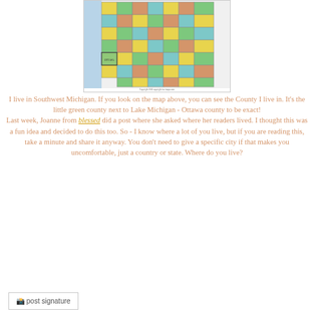[Figure (map): Map of Michigan counties with colored regions, showing lower peninsula with county names labeled]
I live in Southwest Michigan. If you look on the map above, you can see the County I live in. It's the little green county next to Lake Michigan - Ottawa county to be exact!
Last week, Joanne from blessed did a post where she asked where her readers lived. I thought this was a fun idea and decided to do this too. So - I know where a lot of you live, but if you are reading this, take a minute and share it anyway. You don't need to give a specific city if that makes you uncomfortable, just a country or state. Where do you live?
[Figure (other): Post signature image]